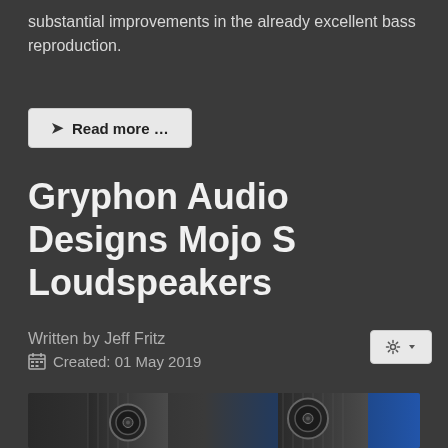substantial improvements in the already excellent bass reproduction.
Read more ...
Gryphon Audio Designs Mojo S Loudspeakers
Written by Jeff Fritz
Created: 01 May 2019
[Figure (photo): Gryphon Audio Designs Mojo S loudspeakers — close-up photo showing carbon fiber-textured speaker cabinets with circular drivers, set against a blue and dark background]